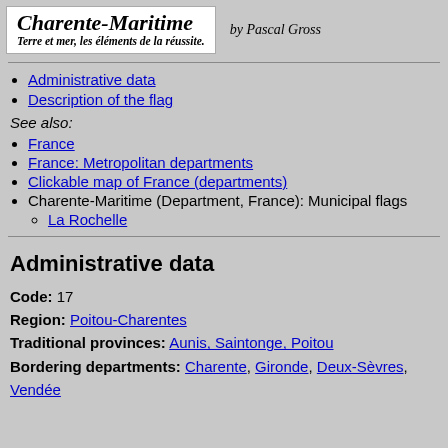Charente-Maritime — Terre et mer, les éléments de la réussite. by Pascal Gross
Administrative data
Description of the flag
See also:
France
France: Metropolitan departments
Clickable map of France (departments)
Charente-Maritime (Department, France): Municipal flags
La Rochelle
Administrative data
Code: 17
Region: Poitou-Charentes
Traditional provinces: Aunis, Saintonge, Poitou
Bordering departments: Charente, Gironde, Deux-Sèvres, Vendée